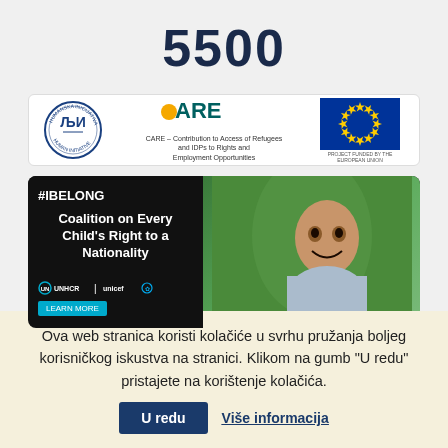5500
[Figure (logo): Logo banner with three logos: Humanska Inicijativa (circular blue logo), CARE (Contribution to Access of Refugees and IDPs to Rights and Employment Opportunities), and EU flag with 'Project Funded by the European Union' text]
[Figure (photo): #IBELONG Coalition on Every Child's Right to a Nationality - UNHCR and UNICEF promotional banner showing a smiling young man on dark background with logos and Learn More button]
[Figure (photo): Partial image of colorful flags/ribbon at bottom of main content area]
Ova web stranica koristi kolačiće u svrhu pružanja boljeg korisničkog iskustva na stranici. Klikom na gumb "U redu" pristajete na korištenje kolačića.
U redu
Više informacija